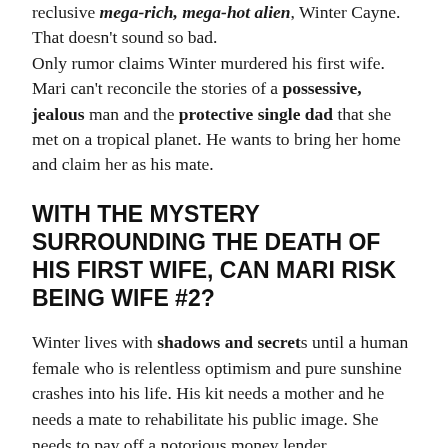reclusive mega-rich, mega-hot alien, Winter Cayne. That doesn't sound so bad.
Only rumor claims Winter murdered his first wife. Mari can't reconcile the stories of a possessive, jealous man and the protective single dad that she met on a tropical planet. He wants to bring her home and claim her as his mate.
WITH THE MYSTERY SURROUNDING THE DEATH OF HIS FIRST WIFE, CAN MARI RISK BEING WIFE #2?
Winter lives with shadows and secrets until a human female who is relentless optimism and pure sunshine crashes into his life. His kit needs a mother and he needs a mate to rehabilitate his public image. She needs to pay off a notorious money lender.